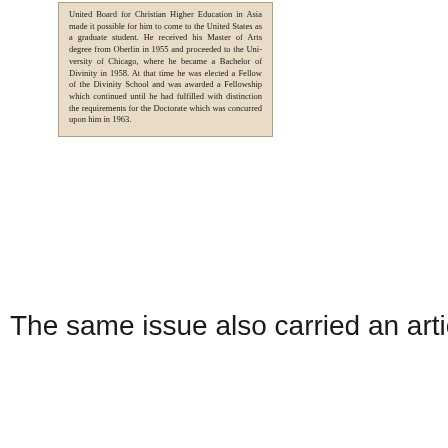[Figure (photo): Newspaper clipping with text about a person who received support from the United Board for Christian Higher Education in Asia, earned a Master of Arts from Oberlin in 1955, became a Bachelor of Divinity at the University of Chicago in 1958, was elected a Fellow of the Divinity School and awarded a Fellowship, and received a Doctorate in 1963.]
The same issue also carried an article 'Paper Folding as a Fo